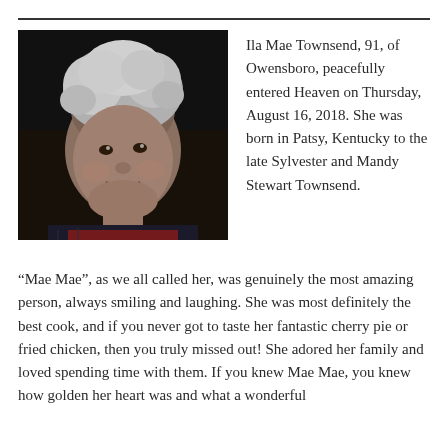[Figure (photo): Black and white / dark photograph of an elderly woman smiling, with short wavy gray hair, wearing a dark patterned top.]
Ila Mae Townsend, 91, of Owensboro, peacefully entered Heaven on Thursday, August 16, 2018. She was born in Patsy, Kentucky to the late Sylvester and Mandy Stewart Townsend.
“Mae Mae”, as we all called her, was genuinely the most amazing person, always smiling and laughing. She was most definitely the best cook, and if you never got to taste her fantastic cherry pie or fried chicken, then you truly missed out! She adored her family and loved spending time with them. If you knew Mae Mae, you knew how golden her heart was and what a wonderful